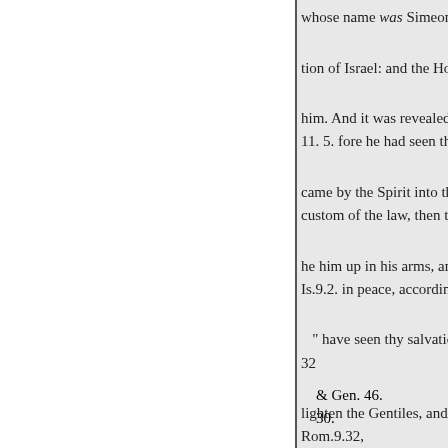whose name was Simeon; and th
tion of Israel: and the Holy Ghos
him. And it was revealed unto hi
11. 5. fore he had seen the Lord's
came by the Spirit into the templ
custom of the law, then took 28
he him up in his arms, and bless
Is.9.2. in peace, according to thy
" have seen thy salvation, whi
32
lighten the Gentiles, and the glo
Rom.9.32,
at those things which were spoke
1. 23, 24. 2 Cor. 2.16. mother, Be
Israel; and for 'a
sign which shall be spoken again
& Gen. 46.
30.